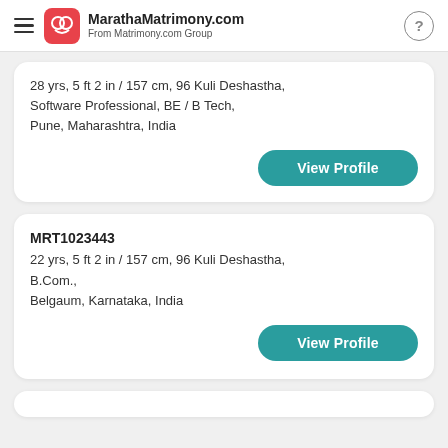MarathaMatrimony.com From Matrimony.com Group
28 yrs, 5 ft 2 in / 157 cm, 96 Kuli Deshastha, Software Professional, BE / B Tech, Pune, Maharashtra, India
View Profile
MRT1023443
22 yrs, 5 ft 2 in / 157 cm, 96 Kuli Deshastha, B.Com., Belgaum, Karnataka, India
View Profile